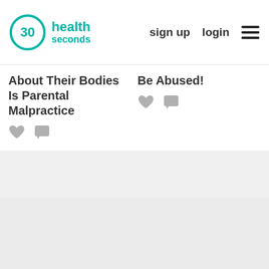30seconds health — sign up   login   ≡
About Their Bodies Is Parental Malpractice
Be Abused!
[Figure (other): Heart (like) icon and chat bubble icon under left article]
[Figure (other): Heart (like) icon and chat bubble icon under right article]